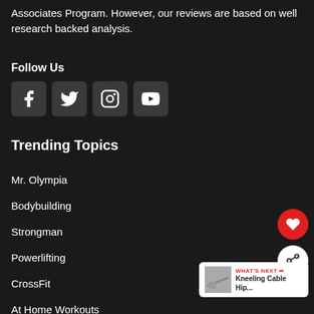Associates Program. However, our reviews are based on well research backed analysis.
Follow Us
[Figure (other): Social media icons: Facebook, Twitter, Instagram, YouTube]
Trending Topics
Mr. Olympia
Bodybuilding
Strongman
Powerlifting
CrossFit
At Home Workouts
Bodyweight Exercises
Best Pre-workout